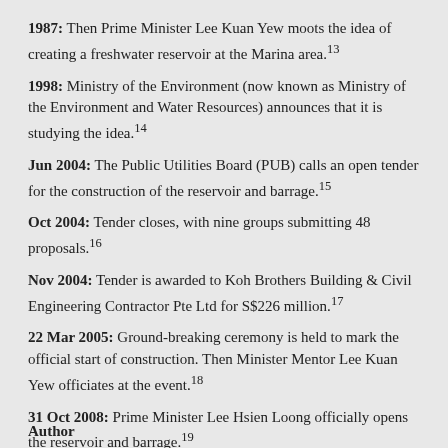1987: Then Prime Minister Lee Kuan Yew moots the idea of creating a freshwater reservoir at the Marina area.[13]
1998: Ministry of the Environment (now known as Ministry of the Environment and Water Resources) announces that it is studying the idea.[14]
Jun 2004: The Public Utilities Board (PUB) calls an open tender for the construction of the reservoir and barrage.[15]
Oct 2004: Tender closes, with nine groups submitting 48 proposals.[16]
Nov 2004: Tender is awarded to Koh Brothers Building & Civil Engineering Contractor Pte Ltd for S$226 million.[17]
22 Mar 2005: Ground-breaking ceremony is held to mark the official start of construction. Then Minister Mentor Lee Kuan Yew officiates at the event.[18]
31 Oct 2008: Prime Minister Lee Hsien Loong officially opens the reservoir and barrage.[19]
Author